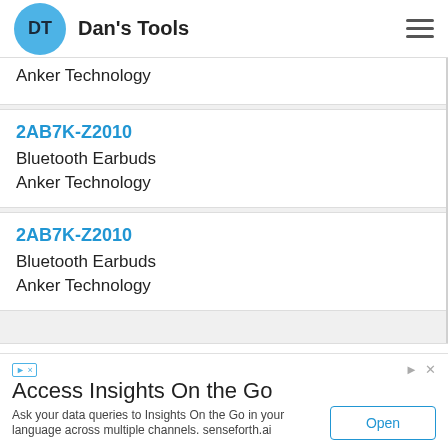Dan's Tools
Anker Technology
2AB7K-Z2010 | Bluetooth Earbuds | Anker Technology
2AB7K-Z2010 | Bluetooth Earbuds | Anker Technology
[Figure (screenshot): Advertisement banner: Access Insights On the Go - Ask your data queries to Insights On the Go in your language across multiple channels. senseforth.ai | Open button]